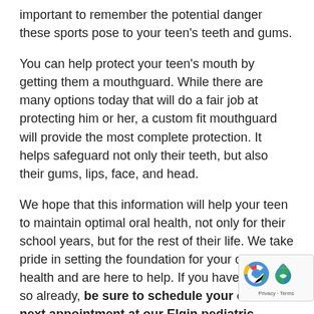important to remember the potential danger these sports pose to your teen's teeth and gums.
You can help protect your teen's mouth by getting them a mouthguard. While there are many options today that will do a fair job at protecting him or her, a custom fit mouthguard will provide the most complete protection. It helps safeguard not only their teeth, but also their gums, lips, face, and head.
We hope that this information will help your teen to maintain optimal oral health, not only for their school years, but for the rest of their life. We take pride in setting the foundation for your child's oral health and are here to help. If you haven't done so already, be sure to schedule your child's next appointment at our Elgin pediatric dental office. We look forward to seeing you.